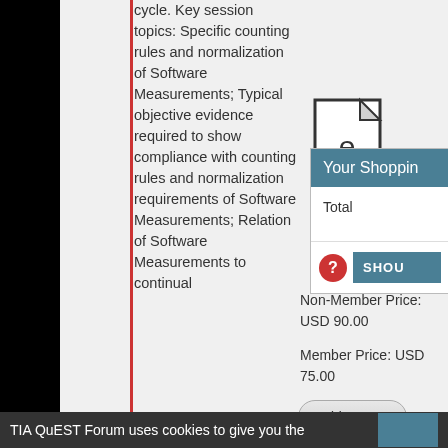cycle. Key session topics: Specific counting rules and normalization of Software Measurements; Typical objective evidence required to show compliance with counting rules and normalization requirements of Software Measurements; Relation of Software Measurements to continual
[Figure (illustration): Document/ebook icon with letter 'e' on it]
Non-Member Price: USD 90.00
Member Price: USD 75.00
Add to Cart
Your Shoppin
Total
SHOU
TIA QuEST Forum uses cookies to give you the